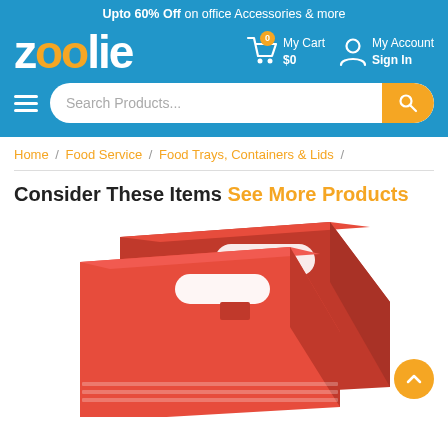Upto 60% Off on office Accessories & more
[Figure (logo): Zoolie logo in white with orange double-o letters]
My Cart $0
My Account Sign In
[Figure (screenshot): Search Products... search bar with hamburger menu icon and orange search button]
Home / Food Service / Food Trays, Containers & Lids /
Consider These Items See More Products
[Figure (photo): Red cardboard food carrier/tray box with handle cutout, shown from an angle on a white background]